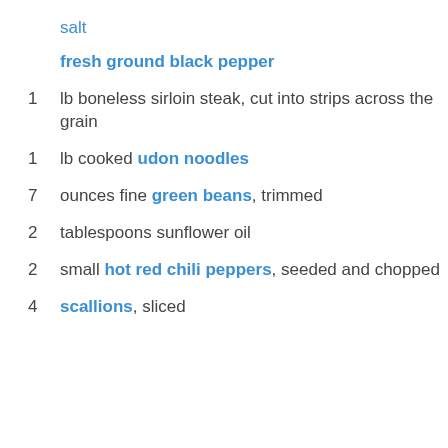salt
fresh ground black pepper
1 lb boneless sirloin steak, cut into strips across the grain
1 lb cooked udon noodles
7 ounces fine green beans, trimmed
2 tablespoons sunflower oil
2 small hot red chili peppers, seeded and chopped
4 scallions, sliced